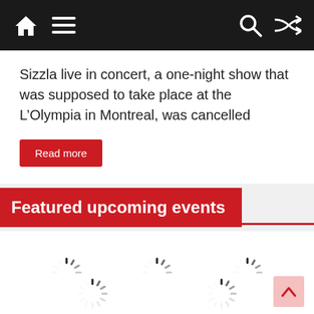Navigation bar with home, menu, search, and shuffle icons
Sizzla live in concert, a one-night show that was supposed to take place at the L’Olympia in Montreal, was cancelled
Read more
Featured upcoming events
[Figure (other): Three loading spinner icons arranged horizontally in a white content area, indicating content is loading]
[Figure (other): Two loading spinner icons arranged horizontally in the bottom of the content area]